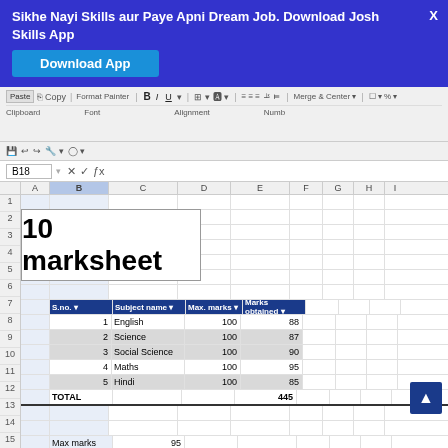Sikhe Nayi Skills aur Paye Apni Dream Job. Download Josh Skills App
[Figure (screenshot): Screenshot of Microsoft Excel spreadsheet showing a marksheet with 5 subjects. Title '10 marksheet' is in a merged cell. A table lists S.no., Subject name, Max. marks, Marks obtained for English (100, 88), Science (100, 87), Social Science (100, 90), Maths (100, 95), Hindi (100, 85). TOTAL row shows 445. Row 17 shows Max marks = 95. Row 18 is selected (B18). Cell reference B18 shown in name box.]
Ab dekhiye MIN function. Iskeliye likhein-